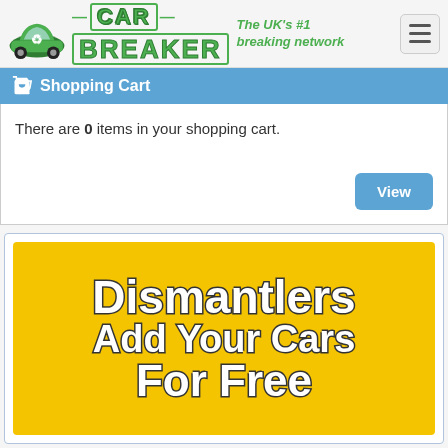[Figure (logo): Car Breaker logo with green car icon and green bold text reading '— CAR — BREAKER' with tagline 'The UK's #1 breaking network'. Hamburger menu button in top right.]
Shopping Cart
There are 0 items in your shopping cart.
[Figure (illustration): Yellow banner advertisement reading 'Dismantlers Add Your Cars For Free']